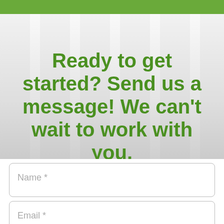Ready to get started? Send us a message! We can’t wait to work with you.
Name *
Email *
Phone